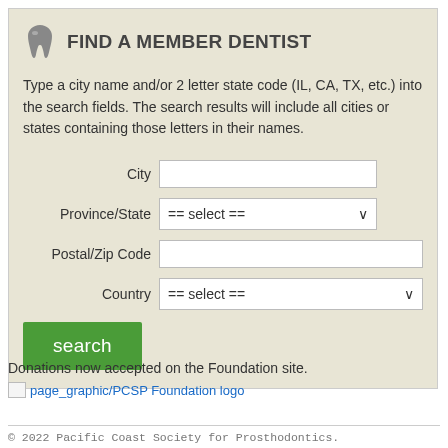FIND A MEMBER DENTIST
Type a city name and/or 2 letter state code (IL, CA, TX, etc.) into the search fields. The search results will include all cities or states containing those letters in their names.
City [input field]
Province/State == select ==
Postal/Zip Code [input field]
Country == select ==
search [button]
Donations now accepted on the Foundation site.
[Figure (other): Broken image placeholder for PCSP Foundation logo with link text 'page_graphic/PCSP Foundation logo']
© 2022 Pacific Coast Society for Prosthodontics.